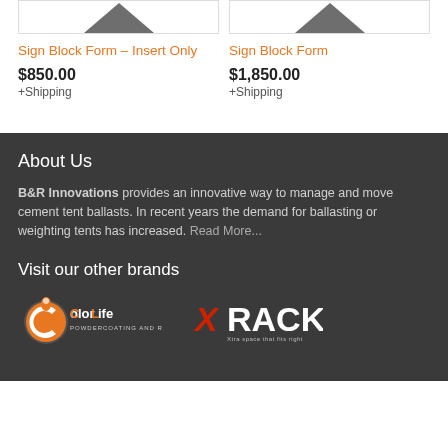[Figure (photo): Product image top portion of Sign Block Form – Insert Only]
Sign Block Form – Insert Only
$850.00
+Shipping
[Figure (photo): Product image top portion of Sign Block Form]
Sign Block Form
$1,850.00
+Shipping
About Us
B&R Innovations provides an innovative way to manage and move cement tent ballasts. In recent years the demand for ballasting or weighting tents has increased. Read More...
Visit our other brands
[Figure (logo): ColorLife Powdercoating and Restoration logo]
[Figure (logo): X RACK logo]